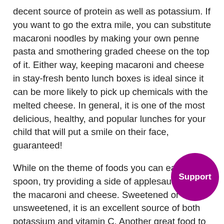decent source of protein as well as potassium. If you want to go the extra mile, you can substitute macaroni noodles by making your own penne pasta and smothering graded cheese on the top of it. Either way, keeping macaroni and cheese in stay-fresh bento lunch boxes is ideal since it can be more likely to pick up chemicals with the melted cheese. In general, it is one of the most delicious, healthy, and popular lunches for your child that will put a smile on their face, guaranteed!
While on the theme of foods you can eat with a spoon, try providing a side of applesauce with the macaroni and cheese. Sweetened or unsweetened, it is an excellent source of both potassium and vitamin C. Another great food to pair with a bento lunch box is a vegetable such as corn or even lima beans if your child tends to enjoy them. Depending on the preferences of your child, both work well with macaroni and cheese. The last side we recommend with this lunch would be white rice, which contains a sensational